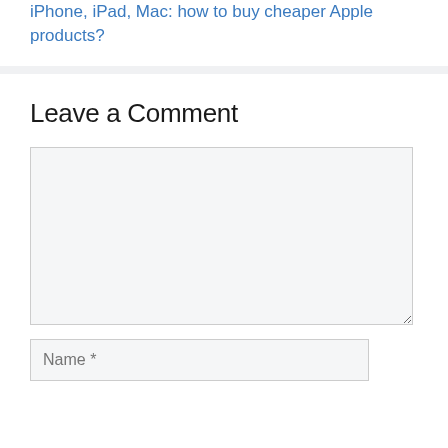iPhone, iPad, Mac: how to buy cheaper Apple products?
Leave a Comment
[Figure (screenshot): Empty comment textarea input field with light gray background]
Name *